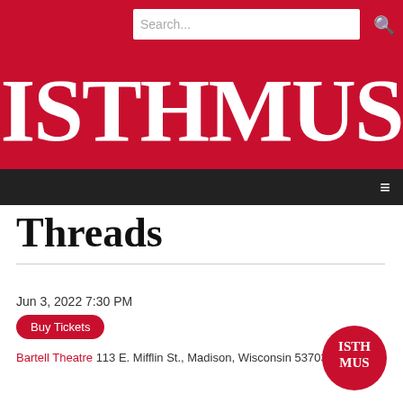ISTHMUS
Threads
Jun 3, 2022 7:30 PM
Buy Tickets
Bartell Theatre 113 E. Mifflin St., Madison, Wisconsin 53703